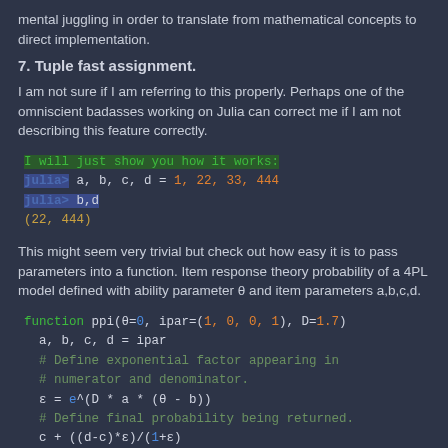mental juggling in order to translate from mathematical concepts to direct implementation.
7. Tuple fast assignment.
I am not sure if I am referring to this properly. Perhaps one of the omniscient badasses working on Julia can correct me if I am not describing this feature correctly.
[Figure (screenshot): Julia REPL code block showing tuple assignment: 'I will just show you how it works:', julia> a, b, c, d = 1, 22, 33, 444, julia> b,d, (22, 444)]
This might seem very trivial but check out how easy it is to pass parameters into a function. Item response theory probability of a 4PL model defined with ability parameter θ and item parameters a,b,c,d.
[Figure (screenshot): Julia function definition: function ppi(θ=0, ipar=(1, 0, 0, 1), D=1.7) with tuple assignment, comments, and formula ε = e^(D * a * (θ - b)), c + ((d-c)*ε)/(1+ε)]